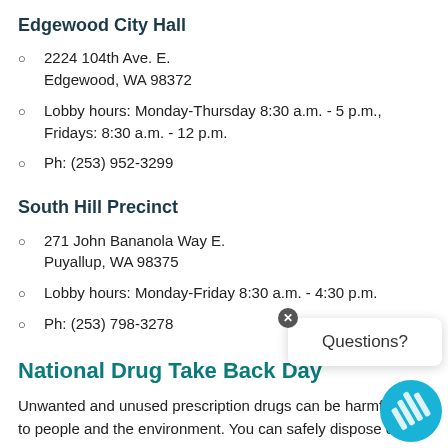Edgewood City Hall
2224 104th Ave. E.
Edgewood, WA 98372
Lobby hours: Monday-Thursday 8:30 a.m. - 5 p.m., Fridays: 8:30 a.m. - 12 p.m.
Ph: (253) 952-3299
South Hill Precinct
271 John Bananola Way E.
Puyallup, WA 98375
Lobby hours: Monday-Friday 8:30 a.m. - 4:30 p.m.
Ph: (253) 798-3278
National Drug Take Back Day
Unwanted and unused prescription drugs can be harmful to people and the environment. You can safely dispose of